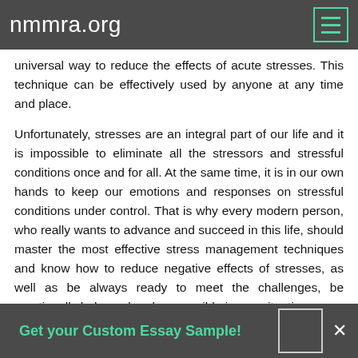nmmra.org
universal way to reduce the effects of acute stresses. This technique can be effectively used by anyone at any time and place.
Unfortunately, stresses are an integral part of our life and it is impossible to eliminate all the stressors and stressful conditions once and for all. At the same time, it is in our own hands to keep our emotions and responses on stressful conditions under control. That is why every modern person, who really wants to advance and succeed in this life, should master the most effective stress management techniques and know how to reduce negative effects of stresses, as well as be always ready to meet the challenges, be emotionally balanced and responsible in any situation.
Get your Custom Essay Sample!